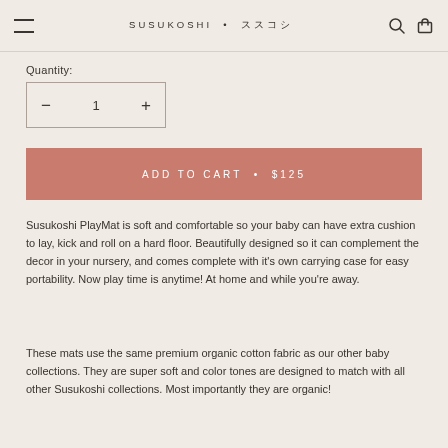SUSUKOSHI • ススコシ
Quantity:
— 1 +
ADD TO CART • $125
Susukoshi PlayMat is soft and comfortable so your baby can have extra cushion to lay, kick and roll on a hard floor. Beautifully designed so it can complement the decor in your nursery, and comes complete with it's own carrying case for easy portability. Now play time is anytime! At home and while you're away.
These mats use the same premium organic cotton fabric as our other baby collections. They are super soft and color tones are designed to match with all other Susukoshi collections. Most importantly they are organic!